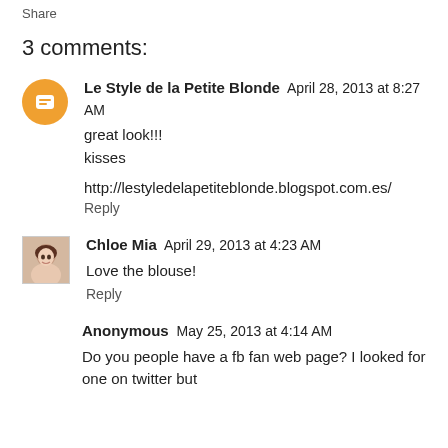Share
3 comments:
Le Style de la Petite Blonde April 28, 2013 at 8:27 AM
great look!!!
kisses

http://lestyledelapetiteblonde.blogspot.com.es/
Reply
Chloe Mia April 29, 2013 at 4:23 AM
Love the blouse!
Reply
Anonymous May 25, 2013 at 4:14 AM
Do you people have a fb fan web page? I looked for one on twitter but